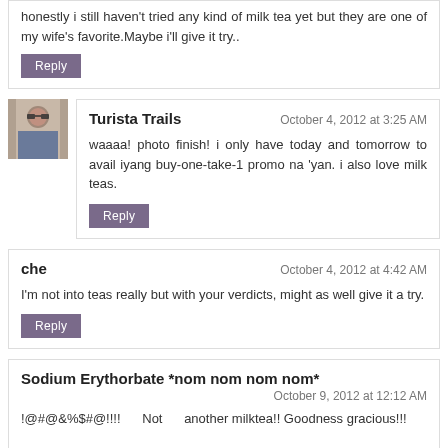honestly i still haven't tried any kind of milk tea yet but they are one of my wife's favorite.Maybe i'll give it try..
Reply
Turista Trails
October 4, 2012 at 3:25 AM
waaaa! photo finish! i only have today and tomorrow to avail iyang buy-one-take-1 promo na 'yan. i also love milk teas.
Reply
che
October 4, 2012 at 4:42 AM
I'm not into teas really but with your verdicts, might as well give it a try.
Reply
Sodium Erythorbate *nom nom nom nom*
October 9, 2012 at 12:12 AM
!@#@&%$#@!!!!      Not      another milktea!! Goodness gracious!!!